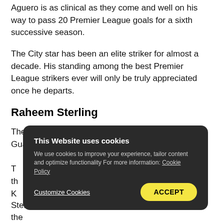Aguero is as clinical as they come and well on his way to pass 20 Premier League goals for a sixth successive season.
The City star has been an elite striker for almost a decade. His standing among the best Premier League strikers ever will only be truly appreciated once he departs.
Raheem Sterling
The development of Raheem Sterling under Pep Guardiola h…
T… th… o K…
[Figure (other): Cookie consent overlay with title 'This Website uses cookies', body text about cookie usage and Cookie Policy link, Customize Cookies link, and yellow ACCEPT button.]
Sterling has posted numbers that rightly put him in the